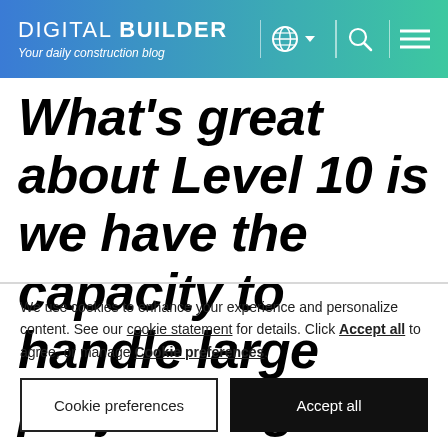DIGITAL BUILDER — Your daily construction blog
What's great about Level 10 is we have the capacity to handle large projects right
We use cookies to enhance your experience and personalize content. See our cookie statement for details. Click Accept all to agree, or manage Cookie preferences.
Cookie preferences | Accept all